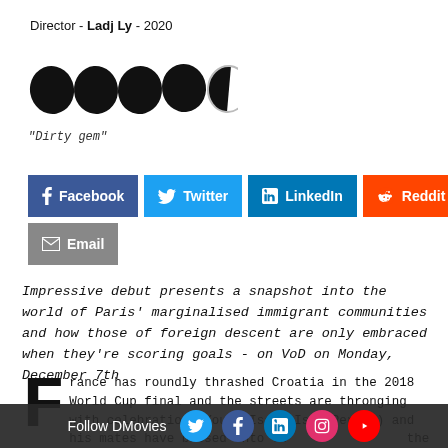Director - Ladj Ly - 2020
[Figure (illustration): 4.5 out of 5 stars rating shown as black star icons]
"Dirty gem"
[Figure (infographic): Social media share buttons: Facebook, Twitter, LinkedIn, Reddit, Email]
Impressive debut presents a snapshot into the world of Paris' marginalised immigrant communities and how those of foreign descent are only embraced when they're scoring goals - on VoD on Monday, December 7th
France has roundly thrashed Croatia in the 2018 World Cup final and the streets are thronging with celebration. Young Issa (Issa Perica) and his mates have bussed into th the glory of t
Follow DMovies